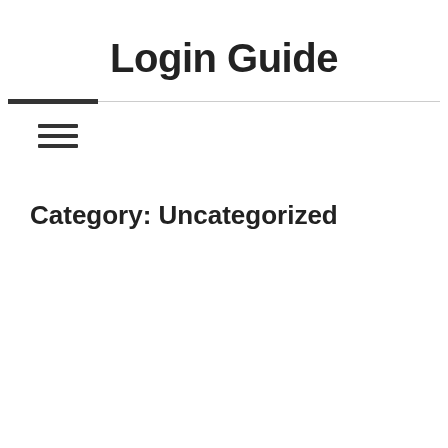Login Guide
[Figure (other): Horizontal navigation bar with dark accent line on left and hamburger menu icon (three horizontal lines)]
Category: Uncategorized